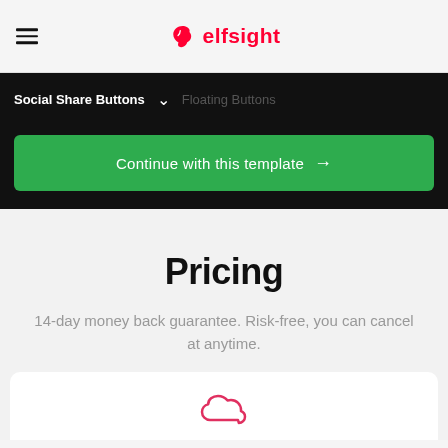elfsight
Social Share Buttons
[Figure (screenshot): Green button labeled 'Continue with this template →']
Pricing
14-day money back guarantee. Risk-free, you can cancel at anytime.
[Figure (illustration): Cloud icon in pink/red outline]